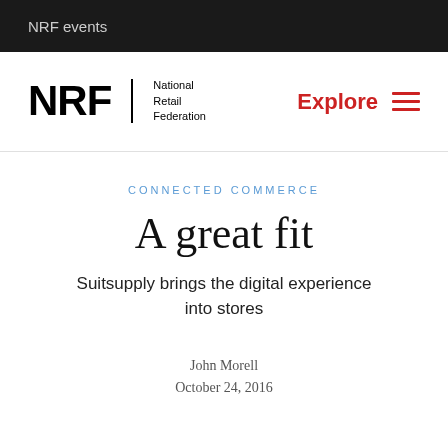NRF events
[Figure (logo): NRF National Retail Federation logo with Explore menu button]
CONNECTED COMMERCE
A great fit
Suitsupply brings the digital experience into stores
John Morell
October 24, 2016